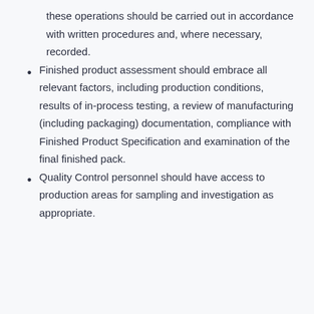these operations should be carried out in accordance with written procedures and, where necessary, recorded.
Finished product assessment should embrace all relevant factors, including production conditions, results of in-process testing, a review of manufacturing (including packaging) documentation, compliance with Finished Product Specification and examination of the final finished pack.
Quality Control personnel should have access to production areas for sampling and investigation as appropriate.